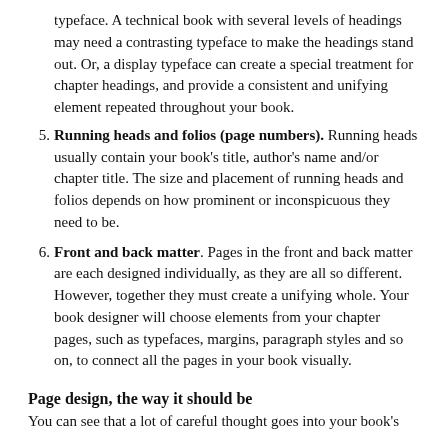typeface. A technical book with several levels of headings may need a contrasting typeface to make the headings stand out. Or, a display typeface can create a special treatment for chapter headings, and provide a consistent and unifying element repeated throughout your book.
5. Running heads and folios (page numbers). Running heads usually contain your book's title, author's name and/or chapter title. The size and placement of running heads and folios depends on how prominent or inconspicuous they need to be.
6. Front and back matter. Pages in the front and back matter are each designed individually, as they are all so different. However, together they must create a unifying whole. Your book designer will choose elements from your chapter pages, such as typefaces, margins, paragraph styles and so on, to connect all the pages in your book visually.
Page design, the way it should be
You can see that a lot of careful thought goes into your book's